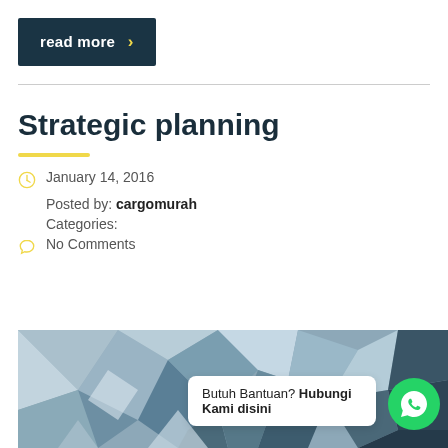read more >
Strategic planning
January 14, 2016
Posted by: cargomurah
Categories:
No Comments
[Figure (illustration): Polygonal geometric background in blue and grey tones with a WhatsApp help chat bubble overlay reading 'Butuh Bantuan? Hubungi Kami disini']